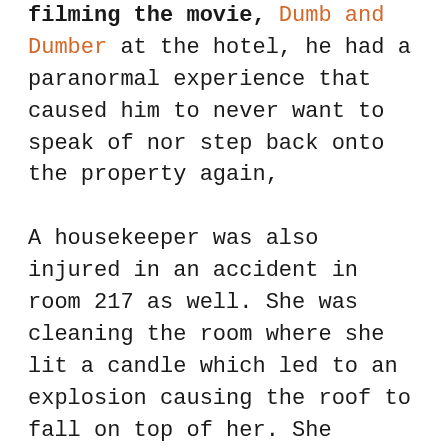filming the movie, Dumb and Dumber at the hotel, he had a paranormal experience that caused him to never want to speak of nor step back onto the property again,

A housekeeper was also injured in an accident in room 217 as well. She was cleaning the room where she lit a candle which led to an explosion causing the roof to fall on top of her. She survived thankfully, and Mr. Stanley ended up taking care of her and her bills for the rest of her life due to this unfortunate incident.
The Stanley Hotel is also well known